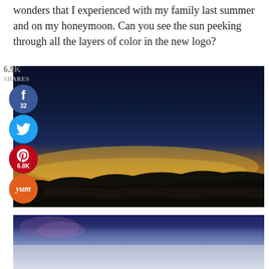wonders that I experienced with my family last summer and on my honeymoon. Can you see the sun peeking through all the layers of color in the new logo?
[Figure (photo): Panoramic sunset photo taken from a high altitude viewpoint (likely Haleakala, Maui), showing dramatic layers of color in the sky from deep navy blue at top through orange and golden yellow at the horizon, with silhouetted clouds and mountains below. Has social share buttons (Facebook 32, Twitter, Pinterest 6.8K, Yummly) overlaid on the left side, and a share count of 6.9K.]
[Figure (photo): Partial view of a second photo at the bottom of the page, showing a dark blue sky at top and light grey/white misty clouds or fog below, suggesting another high-altitude or atmospheric scene.]